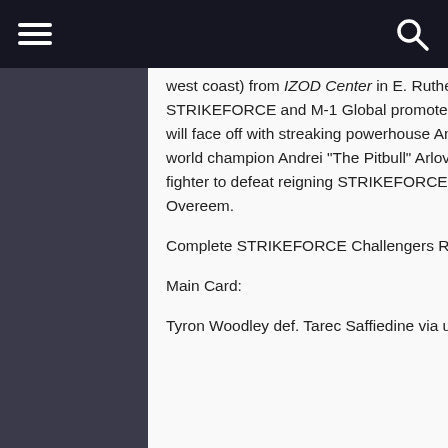west coast) from IZOD Center in E. Rutherford, New Jersey.  In one of two tournament bouts on the STRIKEFORCE and M-1 Global promoted card, the legendary Fedor “The Last Emperor” Emelianenko will face off with streaking powerhouse Antonio “Big Foot” Silva.  In the other tournament contest, former world champion Andrei “The Pitbull” Arlovski will face Russian Sambo master Sergei Kharitonov, the last fighter to defeat reigning STRIKEFORCE Heavyweight Champion, Alistair “The Demolition Man” Overeem.
Complete STRIKEFORCE Challengers Results:
Main Card:
Tyron Woodley def. Tarec Saffiedine via unanimous decision (30-27, 29-28, 29-28)